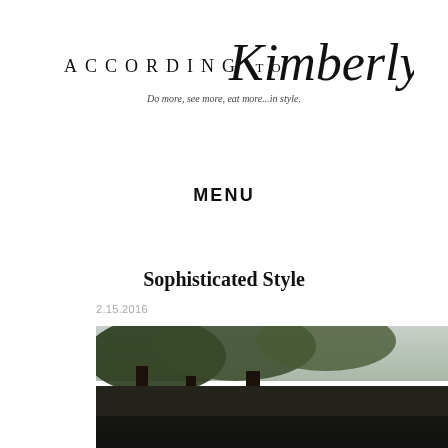According to Kimberly... Do more, see more, eat more...in style.
MENU
Sophisticated Style
2.15.2016
[Figure (photo): Woman in white blazer outdoors among trees, wearing sunglasses, lifestyle fashion blog photo]